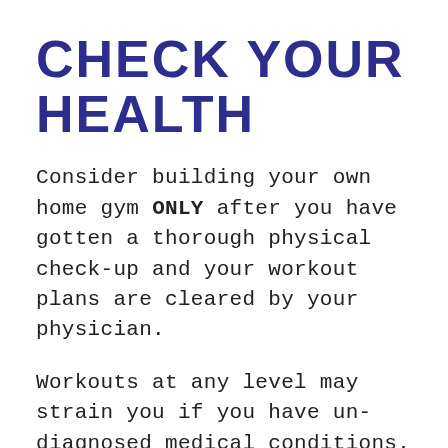CHECK YOUR HEALTH
Consider building your own home gym ONLY after you have gotten a thorough physical check-up and your workout plans are cleared by your physician.
Workouts at any level may strain you if you have un-diagnosed medical conditions.
Besides, even the most moderate forms of exercise may expose you